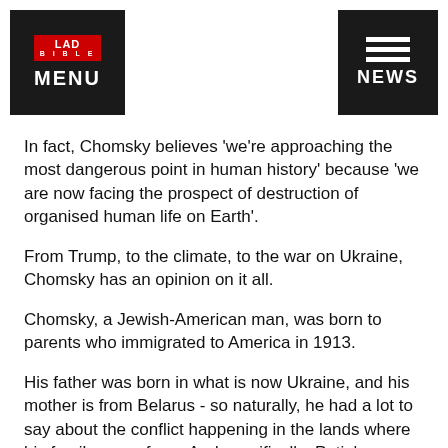LAD BIBLE MENU | NEWS
In fact, Chomsky believes 'we're approaching the most dangerous point in human history' because 'we are now facing the prospect of destruction of organised human life on Earth'.
From Trump, to the climate, to the war on Ukraine, Chomsky has an opinion on it all.
Chomsky, a Jewish-American man, was born to parents who immigrated to America in 1913.
His father was born in what is now Ukraine, and his mother is from Belarus - so naturally, he had a lot to say about the conflict happening in the lands where his family came from. And specifically: Putin's 'criminal aggression'.